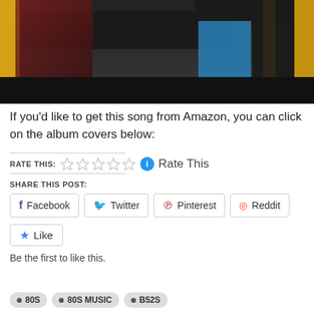[Figure (screenshot): Video thumbnail showing performers with a keyboard/synthesizer, dark background, yellow bars on sides, person in blue skirt on right]
If you'd like to get this song from Amazon, you can click on the album covers below:
RATE THIS: ☆☆☆☆☆ ℹ Rate This
SHARE THIS POST:
Facebook  Twitter  Pinterest  Reddit
★ Like
Be the first to like this.
• 80S  • 80S MUSIC  • B52S